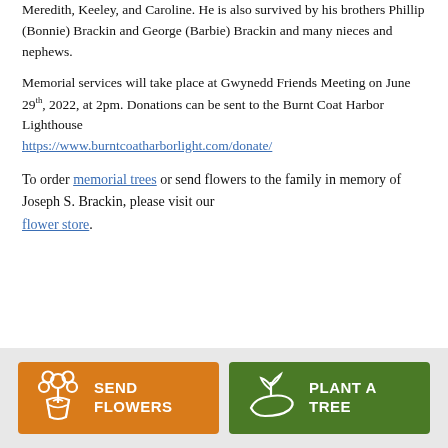(Aloris) Barrett, and 6 grandchildren Brett, Braydon, Meredith, Keeley, and Caroline. He is also survived by his brothers Phillip (Bonnie) Brackin and George (Barbie) Brackin and many nieces and nephews.
Memorial services will take place at Gwynedd Friends Meeting on June 29th, 2022, at 2pm. Donations can be sent to the Burnt Coat Harbor Lighthouse https://www.burntcoatharborlight.com/donate/
To order memorial trees or send flowers to the family in memory of Joseph S. Brackin, please visit our flower store.
[Figure (infographic): Two buttons side by side on a grey background. Left button is orange with a flower bouquet icon and text SEND FLOWERS. Right button is green with a plant/hand icon and text PLANT A TREE.]